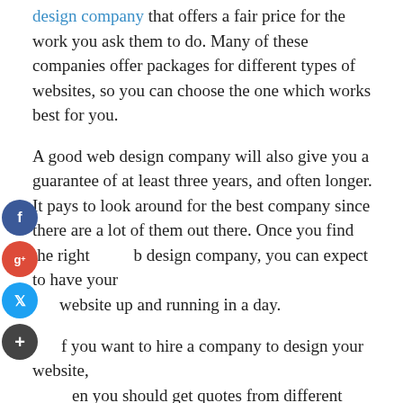design company that offers a fair price for the work you ask them to do. Many of these companies offer packages for different types of websites, so you can choose the one which works best for you.
A good web design company will also give you a guarantee of at least three years, and often longer. It pays to look around for the best company since there are a lot of them out there. Once you find the right web design company, you can expect to have your website up and running in a day.
If you want to hire a company to design your website, then you should get quotes from different web design companies. After all, you are looking for the cheapest company, so you will not want to compromise on quality.
There are many web design companies charge